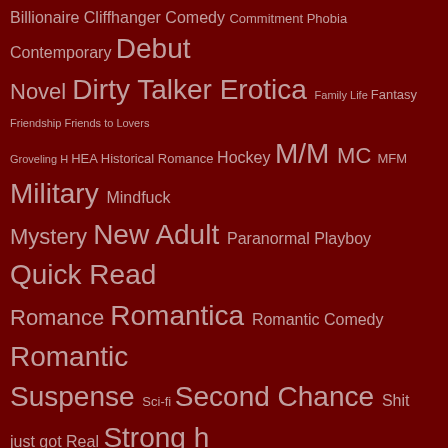[Figure (infographic): Tag cloud of book/romance genre tags in varying sizes on dark red background: Billionaire, Cliffhanger, Comedy, Commitment, Phobia, Contemporary, Debut Novel, Dirty Talker, Erotica, Family Life, Fantasy, Friendship, Friends to Lovers, Groveling H, HEA, Historical Romance, Hockey, M/M, MC, MFM, Military, Mindfuck, Mystery, New Adult, Paranormal, Playboy, Quick Read, Romance, Romantica, Romantic Comedy, Romantic Suspense, Sci-fi, Second Chance, Shit just got Real, Strong h, Suspense, Tattoos, Tearjerker, Thriller, Violence, Virgin]
I'M READING THESE – THEY MAY NOT ALL BE REVIEWED HERE
[Figure (photo): Two book covers side by side: The Ultimate Hitchhiker's Guide to the Galaxy by Douglas Adams (dark cover with green orb), and The Lucky One by Jessica Payne (dark cover with red badge)]
SEE INTO THE PAST